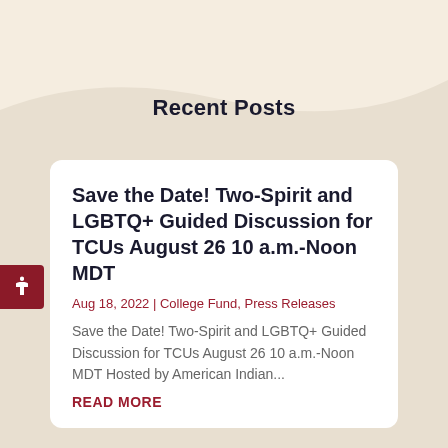Recent Posts
Save the Date! Two-Spirit and LGBTQ+ Guided Discussion for TCUs August 26 10 a.m.-Noon MDT
Aug 18, 2022 | College Fund, Press Releases
Save the Date! Two-Spirit and LGBTQ+ Guided Discussion for TCUs August 26 10 a.m.-Noon MDT Hosted by American Indian...
READ MORE